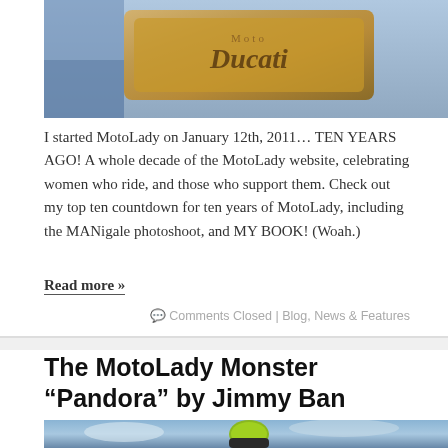[Figure (photo): Close-up photo of a Ducati motorcycle badge/logo on the bike body, warm golden-brown tones]
I started MotoLady on January 12th, 2011… TEN YEARS AGO! A whole decade of the MotoLady website, celebrating women who ride, and those who support them. Check out my top ten countdown for ten years of MotoLady, including the MANigale photoshoot, and MY BOOK! (Woah.)
Read more »
Comments Closed | Blog, News & Features
The MotoLady Monster “Pandora” by Jimmy Ban
[Figure (photo): Motorcyclist wearing a yellow-green helmet and leather jacket, riding against a dramatic cloudy blue sky background]